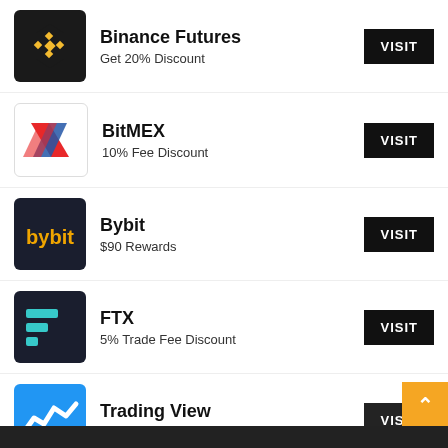Binance Futures – Get 20% Discount – VISIT
BitMEX – 10% Fee Discount – VISIT
Bybit – $90 Rewards – VISIT
FTX – 5% Trade Fee Discount – VISIT
Trading View – Bitcoin / Crypto Charts – VISIT